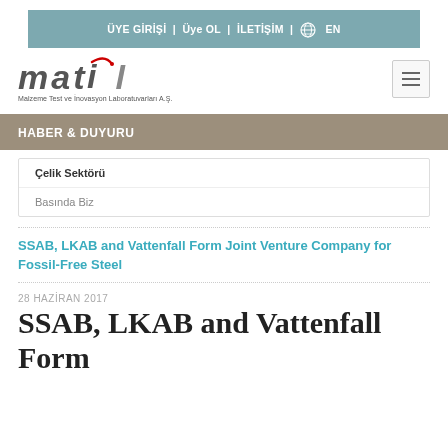ÜYE GİRİŞİ | Üye OL | İLETİŞİM | EN
[Figure (logo): MATIL logo - Malzeme Test ve İnovasyon Laboratuvarları A.Ş.]
HABER & DUYURU
Çelik Sektörü
Basında Biz
SSAB, LKAB and Vattenfall Form Joint Venture Company for Fossil-Free Steel
28 HAZİRAN 2017
SSAB, LKAB and Vattenfall Form